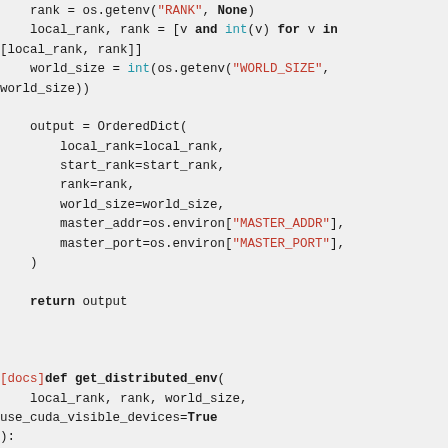Python source code snippet showing distributed environment setup functions